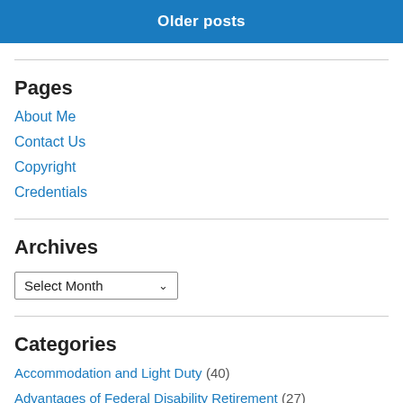Older posts
Pages
About Me
Contact Us
Copyright
Credentials
Archives
Select Month
Categories
Accommodation and Light Duty (40)
Advantages of Federal Disability Retirement (27)